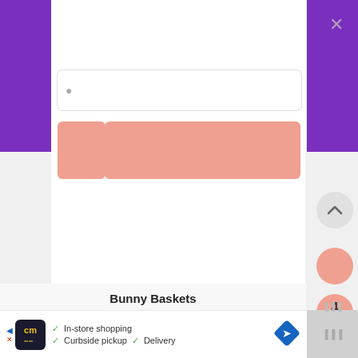[Figure (screenshot): A website/app modal dialog overlay. Purple header with partial text 'Jo...' and 'Fi...' (truncated by white overlay). A white input field and a salmon/peach colored button area are visible on the purple background. Below is a light gray content area. On the right side are UI floating buttons: a circular up-arrow button, a salmon circle, and a salmon pill badge showing '4'. At the bottom is a 'Bunny Baskets' section heading and an advertisement banner for 'cm' showing 'In-store shopping', 'Curbside pickup', 'Delivery' with checkmarks and a blue navigation diamond icon.]
Jo... Fi...
Bunny Baskets
In-store shopping  ✓ Curbside pickup  ✓ Delivery